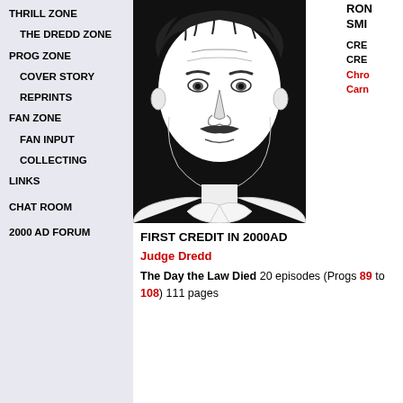THRILL ZONE
THE DREDD ZONE
PROG ZONE
COVER STORY
REPRINTS
FAN ZONE
FAN INPUT
COLLECTING
LINKS
CHAT ROOM
2000 AD FORUM
[Figure (illustration): Black and white portrait illustration of a man with a mustache, drawn in comic book style]
RON... SMI...
CRE... CRE... Chro... Carn...
FIRST CREDIT IN 2000AD
Judge Dredd
The Day the Law Died 20 episodes (Progs 89 to 108) 111 pages